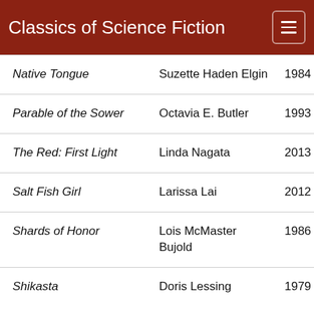Classics of Science Fiction
| Native Tongue | Suzette Haden Elgin | 1984 | 6 |
| Parable of the Sower | Octavia E. Butler | 1993 | 11 |
| The Red: First Light | Linda Nagata | 2013 | 3 |
| Salt Fish Girl | Larissa Lai | 2012 | 1 |
| Shards of Honor | Lois McMaster Bujold | 1986 | 5 |
| Shikasta | Doris Lessing | 1979 | 7 |